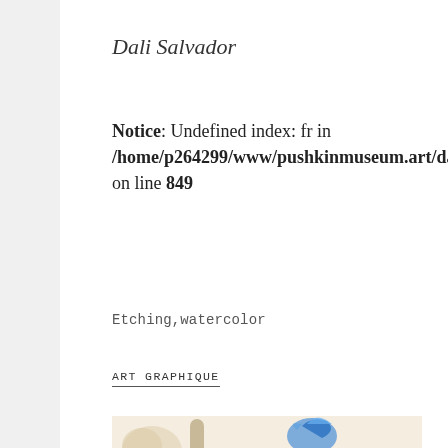Dali Salvador
Notice: Undefined index: fr in /home/p264299/www/pushkinmuseum.art/data/fo... on line 849
Etching,watercolor
ART GRAPHIQUE
[Figure (illustration): Partial view of a Salvador Dali artwork etching with watercolor showing a giraffe-like spotted creature with blue feathered bird, and small figures, on cream/beige background. A purple circular cookie notice badge overlays the bottom right reading WE USE COOKIE! READ MORE]